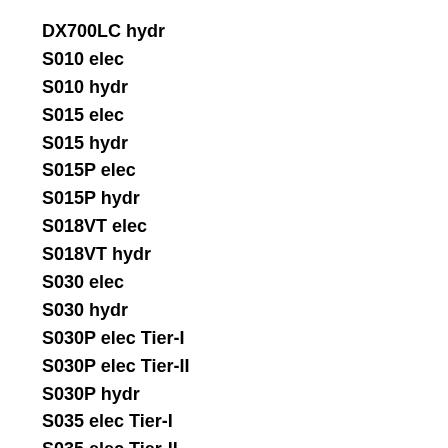DX700LC hydr
S010 elec
S010 hydr
S015 elec
S015 hydr
S015P elec
S015P hydr
S018VT elec
S018VT hydr
S030 elec
S030 hydr
S030P elec Tier-I
S030P elec Tier-II
S030P hydr
S035 elec Tier-I
S035 elec Tier-II
S035 hydr